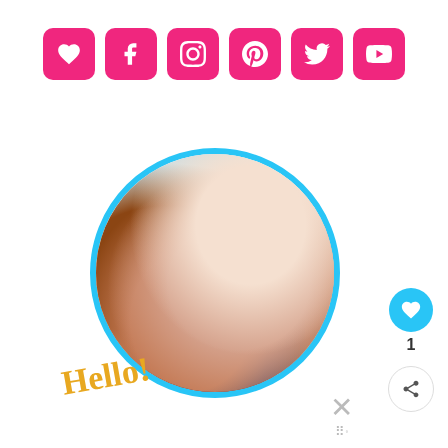[Figure (infographic): Row of 6 pink/magenta rounded-square social media icons: heart/favorite, Facebook, Instagram, Pinterest, Twitter, YouTube]
[Figure (photo): Circular profile photo of a smiling young woman with long reddish-brown hair, wearing a floral scarf, framed by a cyan/light-blue circle border]
Hello!
[Figure (infographic): Right-side UI: cyan heart like button with count '1', and a share button]
[Figure (infographic): Yellow advertisement banner: stamp logo, text 'It’s okay to question. Now get the facts on COVID-19 vaccines GetVaccineAnswers.org', close X button. Also large X and W-dots icon on far right.]